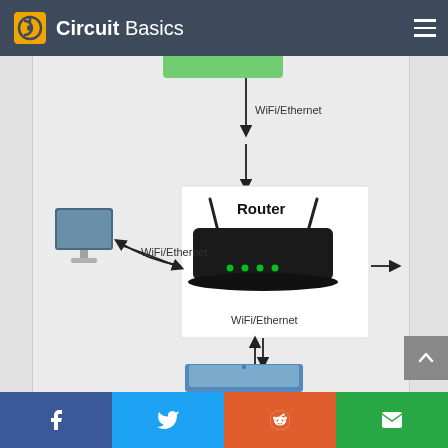Circuit Basics
[Figure (network-graph): Network diagram showing a Router in the center connected to devices via WiFi/Ethernet. A desktop monitor is connected on the left via WiFi/Ethernet, a device partially visible at the top, and a laptop partially visible at the bottom. Arrows show bidirectional connections labeled WiFi/Ethernet.]
Facebook, Twitter, Reddit, Email share buttons